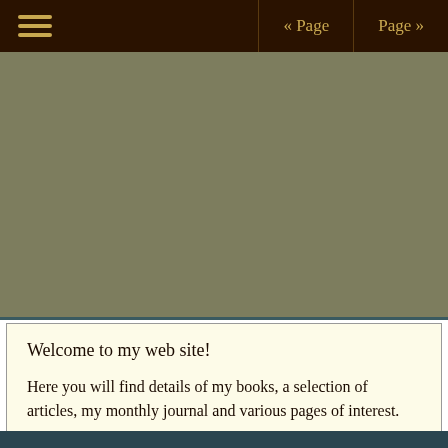« Page   Page »
[Figure (photo): Banner image placeholder with olive/grey-green background]
Welcome to my web site!
Here you will find details of my books, a selection of articles, my monthly journal and various pages of interest.
Browse and enjoy…
" Powerful stories that recreate the history of the past while bringing the supernatural to life. "